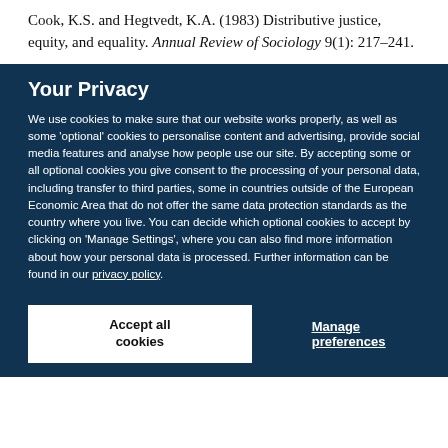Cook, K.S. and Hegtvedt, K.A. (1983) Distributive justice, equity, and equality. Annual Review of Sociology 9(1): 217–241.
Your Privacy
We use cookies to make sure that our website works properly, as well as some 'optional' cookies to personalise content and advertising, provide social media features and analyse how people use our site. By accepting some or all optional cookies you give consent to the processing of your personal data, including transfer to third parties, some in countries outside of the European Economic Area that do not offer the same data protection standards as the country where you live. You can decide which optional cookies to accept by clicking on 'Manage Settings', where you can also find more information about how your personal data is processed. Further information can be found in our privacy policy.
Accept all cookies
Manage preferences